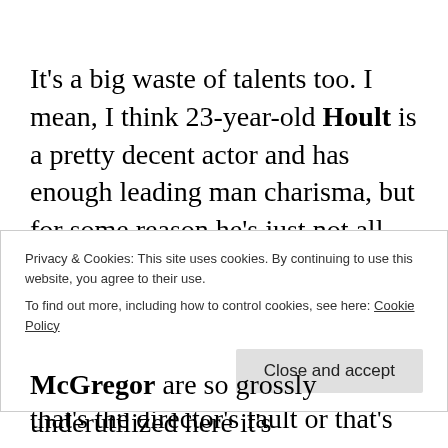It's a big waste of talents too. I mean, I think 23-year-old Hoult is a pretty decent actor and has enough leading man charisma, but for some reason he's just not all that interesting to watch here. Tomlinson looked like she's about to cry at every moment it's irritating, I don't really know if that's the director's fault or that's
Privacy & Cookies: This site uses cookies. By continuing to use this website, you agree to their use.
To find out more, including how to control cookies, see here: Cookie Policy
McGregor are so grossly underutilized here it's